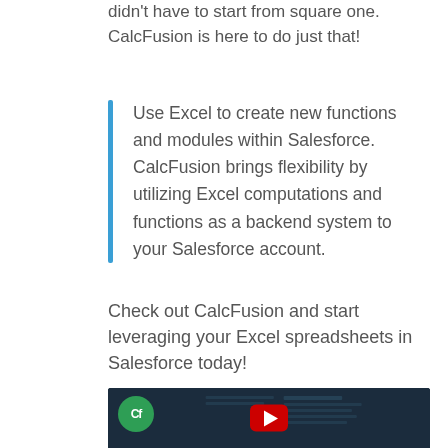didn't have to start from square one. CalcFusion is here to do just that!
Use Excel to create new functions and modules within Salesforce. CalcFusion brings flexibility by utilizing Excel computations and functions as a backend system to your Salesforce account.
Check out CalcFusion and start leveraging your Excel spreadsheets in Salesforce today!
[Figure (screenshot): YouTube video thumbnail for 'CalcFusion - Manage Flexibl...' showing a dark blue interface with CRM data and a YouTube play button]